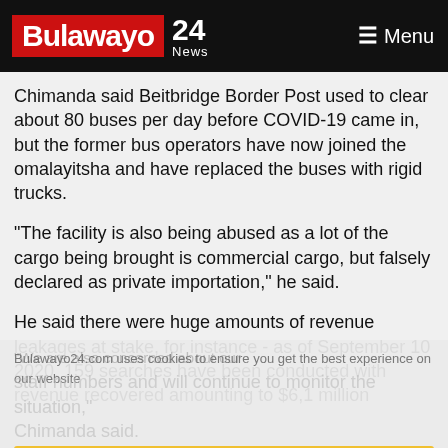Bulawayo 24 News — Menu
Chimanda said Beitbridge Border Post used to clear about 80 buses per day before COVID-19 came in, but the former bus operators have now joined the omalayitsha and have replaced the buses with rigid trucks.
"The facility is also being abused as a lot of the cargo being brought is commercial cargo, but falsely declared as private importation," he said.
He said there were huge amounts of revenue leakages at stake, for instance - as of September 10 2020, 159 searches have been conducted with revenue recovered amounting to $6,1 million
"We are also concerned about our staff numbers and will continue to monitor the situation," Chimanda said.
Bulawayo24.com uses cookies to ensure you get the best experience on our website. Got it!